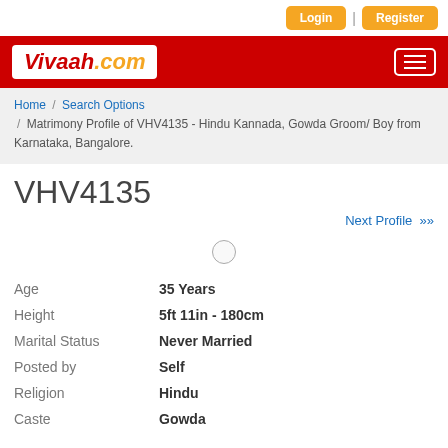Login | Register
Vivaah.com
Home / Search Options / Matrimony Profile of VHV4135 - Hindu Kannada, Gowda Groom/ Boy from Karnataka, Bangalore.
VHV4135
Next Profile »
[Figure (photo): Small circular profile photo placeholder]
| Field | Value |
| --- | --- |
| Age | 35 Years |
| Height | 5ft 11in - 180cm |
| Marital Status | Never Married |
| Posted by | Self |
| Religion | Hindu |
| Caste | Gowda |